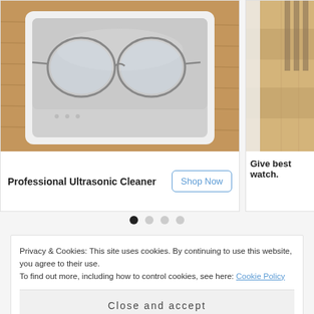[Figure (photo): Photo of an ultrasonic cleaner with glasses inside, sitting on a wooden surface. Left card of a carousel.]
Professional Ultrasonic Cleaner
Shop Now
[Figure (photo): Partial view of a second carousel card showing wooden furniture/stairs and white fabric. Text reads 'Give best watch.']
Give best watch.
Privacy & Cookies: This site uses cookies. By continuing to use this website, you agree to their use.
To find out more, including how to control cookies, see here: Cookie Policy
Close and accept